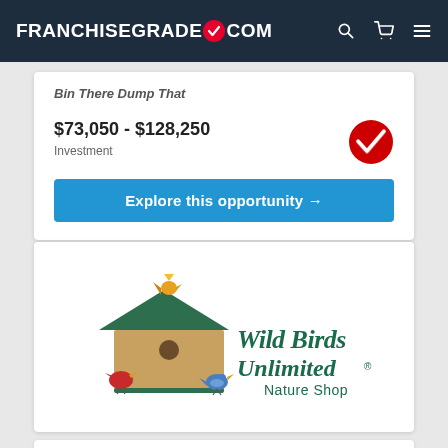FRANCHISEGRADE.COM
Bin There Dump That
$73,050 - $128,250
Investment
Explore this opportunity →
[Figure (logo): Wild Birds Unlimited Nature Shop logo with birdhouse, cardinal, blue bird, and yellow bird illustration]